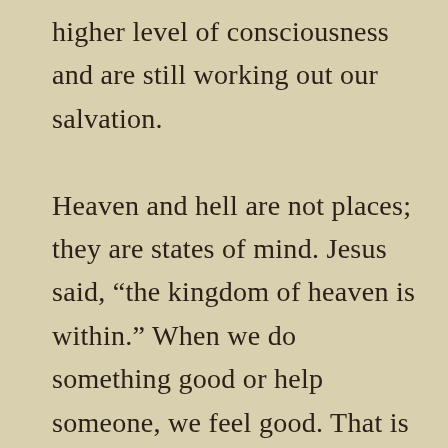higher level of consciousness and are still working out our salvation.

Heaven and hell are not places; they are states of mind. Jesus said, “the kingdom of heaven is within.” When we do something good or help someone, we feel good. That is a heavenly state of mind. When we do something unkind, lie, or cheat, we beat ourselves up and feel